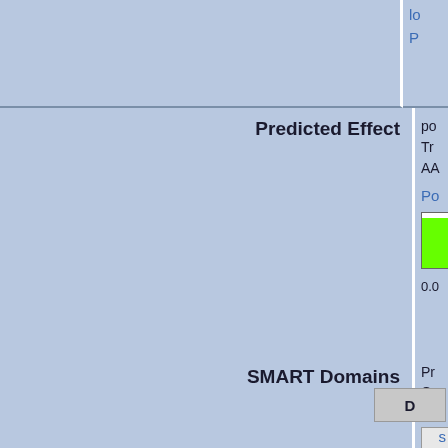lo
P
Predicted Effect
po
Tr
AA

Po
0.0
SMART Domains
Pr
Ge
AA

D

s